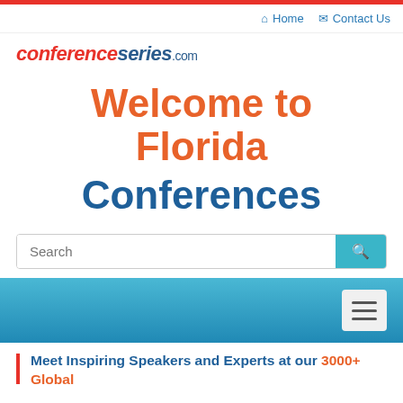Home   Contact Us
[Figure (logo): conferenceseries.com logo with orange italic 'conference' and blue italic 'series' followed by '.com']
Welcome to Florida Conferences
Search
[Figure (screenshot): Blue gradient navigation banner with hamburger menu button]
Meet Inspiring Speakers and Experts at our 3000+ Global